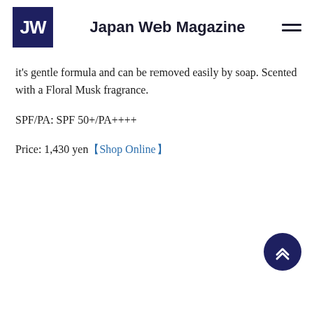Japan Web Magazine
it's gentle formula and can be removed easily by soap. Scented with a Floral Musk fragrance.
SPF/PA: SPF 50+/PA++++
Price: 1,430 yen【Shop Online】